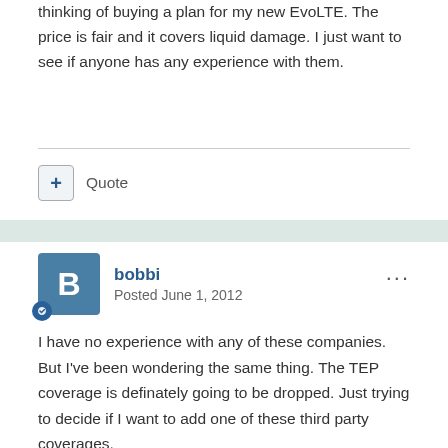thinking of buying a plan for my new EvoLTE. The price is fair and it covers liquid damage. I just want to see if anyone has any experience with them.
Quote
bobbi
Posted June 1, 2012
I have no experience with any of these companies. But I've been wondering the same thing. The TEP coverage is definately going to be dropped. Just trying to decide if I want to add one of these third party coverages.
Between Squaretrade and Ensquared. I'm leaning toward Ensquared. (if I opt for any coverage.) The coverage seems better and I think if I have to file a claim(s), the process is likely to be frustrating no matter which company I have. I have you looked